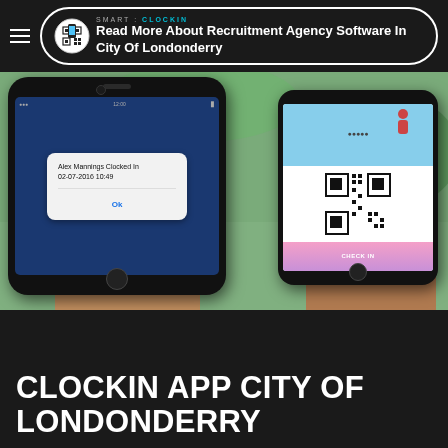Read More About Recruitment Agency Software In City Of Londonderry
[Figure (photo): Two hands holding smartphones. Left phone shows a dark blue screen with a white alert box reading 'Alex Mannings Clocked In 02-07-2016 10:49' with an OK button. Right phone shows a QR code scanning app with a light blue and pink interface.]
CLOCKIN APP CITY OF LONDONDERRY